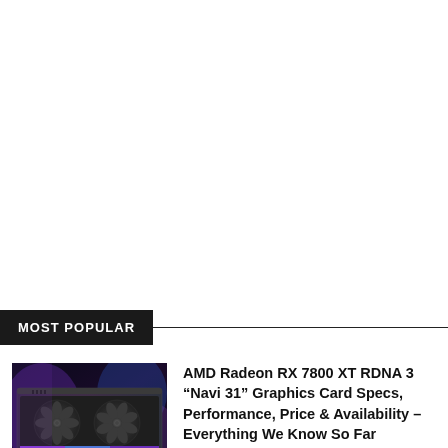MOST POPULAR
[Figure (photo): AMD Radeon RX 7800 XT graphics card with dual fans, purple/blue RGB lighting in background]
AMD Radeon RX 7800 XT RDNA 3 “Navi 31” Graphics Card Specs, Performance, Price & Availability – Everything We Know So Far